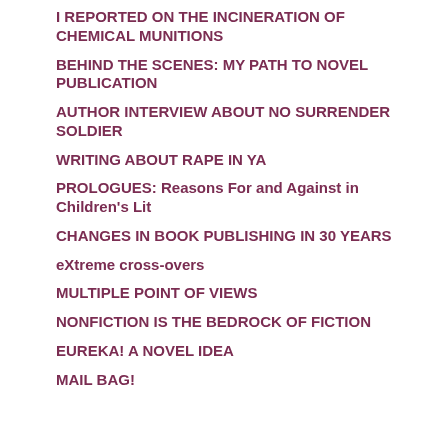I REPORTED ON THE INCINERATION OF CHEMICAL MUNITIONS
BEHIND THE SCENES: MY PATH TO NOVEL PUBLICATION
AUTHOR INTERVIEW ABOUT NO SURRENDER SOLDIER
WRITING ABOUT RAPE IN YA
PROLOGUES: Reasons For and Against in Children's Lit
CHANGES IN BOOK PUBLISHING IN 30 YEARS
eXtreme cross-overs
MULTIPLE POINT OF VIEWS
NONFICTION IS THE BEDROCK OF FICTION
EUREKA! A NOVEL IDEA
MAIL BAG!